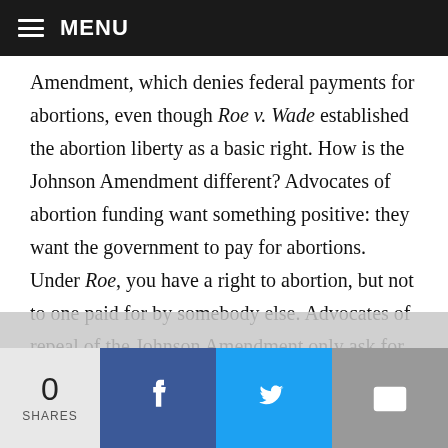MENU
Amendment, which denies federal payments for abortions, even though Roe v. Wade established the abortion liberty as a basic right. How is the Johnson Amendment different? Advocates of abortion funding want something positive: they want the government to pay for abortions. Under Roe, you have a right to abortion, but not to one paid for by somebody else. Advocates of repeal of the Johnson Amendment only ask for something negative: not being penalized financially for exercising their basic rights. So, the parallel to Hyde fails. The more proper analogy would
0 SHARES